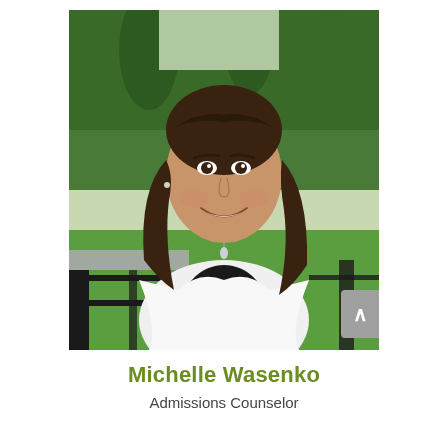[Figure (photo): Professional headshot of Michelle Wasenko, a young woman with long wavy brown hair, wearing a white cardigan over a black top with a pendant necklace, smiling, standing outdoors in front of a green lawn with trees and a black metal railing in the background.]
Michelle Wasenko
Admissions Counselor